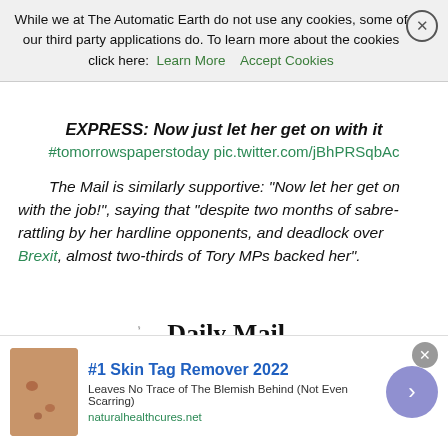While we at The Automatic Earth do not use any cookies, some of our third party applications do. To learn more about the cookies click here: Learn More  Accept Cookies
EXPRESS: Now just let her get on with it
#tomorrowspaperstoday pic.twitter.com/jBhPRSqbAc
The Mail is similarly supportive: “Now let her get on with the job!”, saying that “despite two months of sabre-rattling by her hardline opponents, and deadlock over Brexit, almost two-thirds of Tory MPs backed her”.
[Figure (photo): Daily Mail newspaper front page showing 'TORY VOTE DRAMA' banner in red and 'NOW LET' headline in large black text, with a partial photo of a grey-haired person]
#1 Skin Tag Remover 2022 - Leaves No Trace of The Blemish Behind (Not Even Scarring) - naturalhealthcures.net